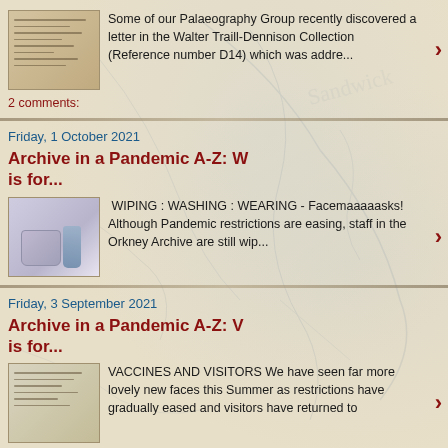Some of our Palaeography Group recently discovered a letter in the Walter Traill-Dennison Collection (Reference number D14) which was addre...
2 comments:
Friday, 1 October 2021
Archive in a Pandemic A-Z: W is for...
WIPING : WASHING : WEARING - Facemaaaaasks!  Although Pandemic restrictions are easing, staff in the Orkney Archive are still wip...
Friday, 3 September 2021
Archive in a Pandemic A-Z: V is for...
VACCINES AND VISITORS We have seen far more lovely new faces this Summer as restrictions have gradually eased and visitors have returned to